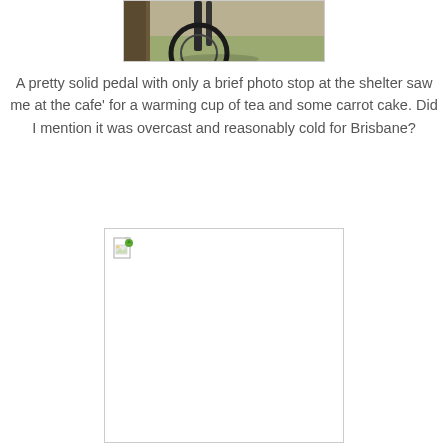[Figure (photo): Partial view of a bicycle near a structure with grass in the background — top portion of image visible]
A pretty solid pedal with only a brief photo stop at the shelter saw me at the cafe' for a warming cup of tea and some carrot cake. Did I mention it was overcast and reasonably cold for Brisbane?
[Figure (photo): A broken/missing image placeholder with a small broken image icon in the top-left corner — image failed to load]